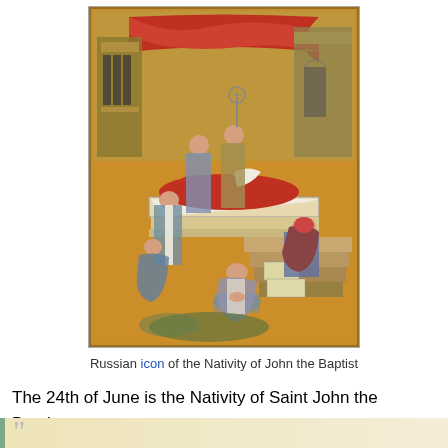[Figure (photo): Russian icon painting depicting the Nativity of John the Baptist. Shows a reclining woman (Elizabeth) in red on a bed, attendants bathing a newborn in a basin, a seated figure writing, architectural elements with columns and drapery in a gold background.]
Russian icon of the Nativity of John the Baptist
The 24th of June is the Nativity of Saint John the Baptist.
The following is from Butler's Lives of the Saints: